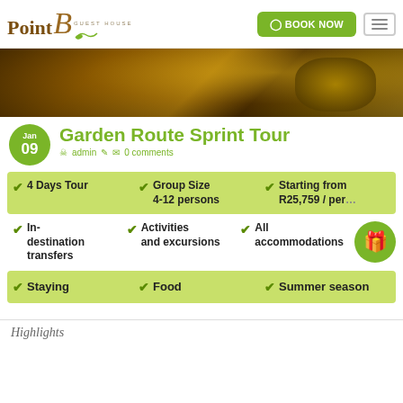[Figure (logo): Point B Guest House logo with green leaf and stylized B curl]
BOOK NOW
[Figure (photo): Aerial sunset/golden hour nature photo used as hero banner]
Jan 09
Garden Route Sprint Tour
admin   0 comments
4 Days Tour   Group Size 4-12 persons   Starting from R25,759 / per...
In-destination transfers   Activities and excursions   All accommodations
Staying   Food   Summer season
Highlights